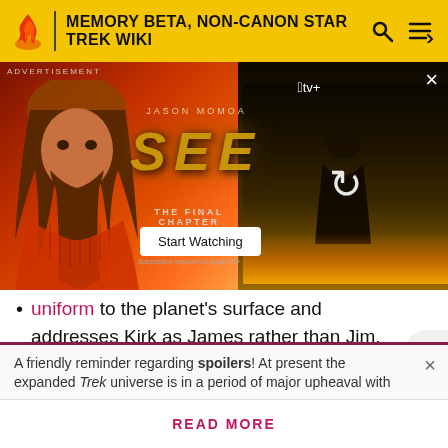MEMORY BETA, NON-CANON STAR TREK WIKI
[Figure (screenshot): Advertisement banner for Apple TV+ show SEE: The Final Chapter featuring Jason Momoa. Dark red/orange background with actor image on left, show title SEE in large gold letters, and a loading/refresh icon over a dark video thumbnail on the right. Includes 'Start Watching' button.]
uniform to the planet's surface and addresses Kirk as James rather than Jim.
Pavel Chekov is given command and wears an operations division uniform, with Nyota Uhura deferring to him, suggesting a placement after his
A friendly reminder regarding spoilers! At present the expanded Trek universe is in a period of major upheaval with
READ MORE